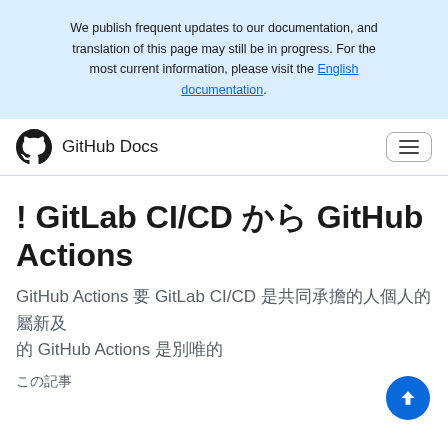We publish frequent updates to our documentation, and translation of this page may still be in progress. For the most current information, please visit the English documentation.
GitHub Docs
GitLab CI/CD から GitHub Actions への移行
GitHub Actions と GitLab CI/CD はどちらも、コードの構築、テスト、発行、リリース、デプロイを自動化する GitHub Actions の機能を備えています。
この記事